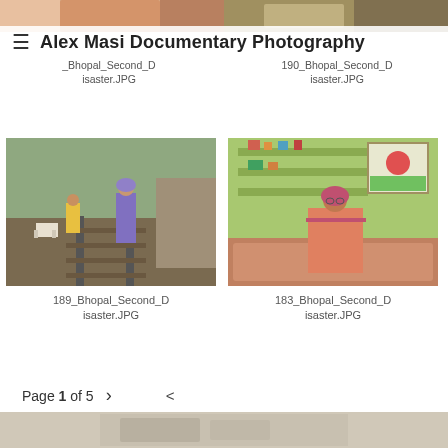≡ Alex Masi Documentary Photography
[Figure (photo): Partial photo cropped at top, Bhopal Second Disaster documentary image]
_Bhopal_Second_Disaster.JPG
[Figure (photo): Partial photo cropped at top, Bhopal Second Disaster documentary image 190]
190_Bhopal_Second_Disaster.JPG
[Figure (photo): Documentary photo showing people near railway tracks in a slum area, Bhopal Second Disaster]
189_Bhopal_Second_Disaster.JPG
[Figure (photo): Documentary photo showing a woman in colorful clothing sitting in a room with shelves, Bhopal Second Disaster]
183_Bhopal_Second_Disaster.JPG
Page 1 of 5
[Figure (photo): Partial bottom strip image]